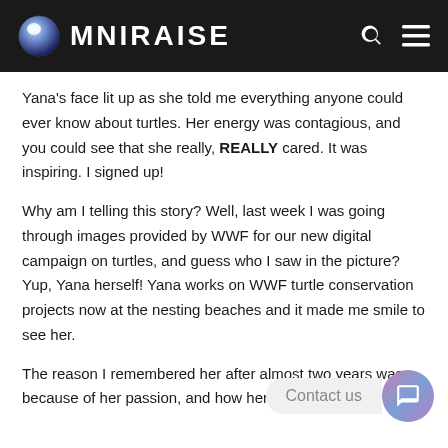OMNIRAISE
Yana's face lit up as she told me everything anyone could ever know about turtles. Her energy was contagious, and you could see that she really, REALLY cared. It was inspiring. I signed up!
Why am I telling this story? Well, last week I was going through images provided by WWF for our new digital campaign on turtles, and guess who I saw in the picture? Yup, Yana herself! Yana works on WWF turtle conservation projects now at the nesting beaches and it made me smile to see her.
The reason I remembered her after almost two years was because of her passion, and how her face lit up when